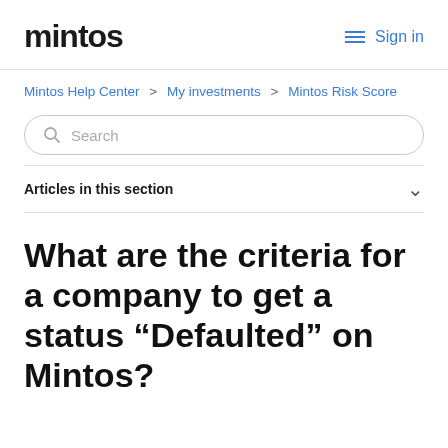mintos  Sign in
Mintos Help Center > My investments > Mintos Risk Score
Search
Articles in this section
What are the criteria for a company to get a status “Defaulted” on Mintos?